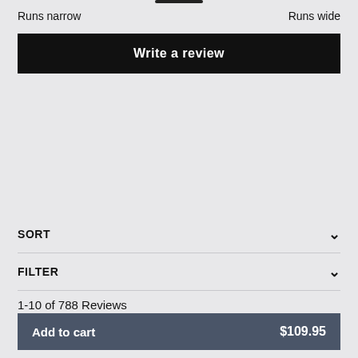Runs narrow    Runs wide
Write a review
SORT
FILTER
1-10 of 788 Reviews
Add to cart   $109.95